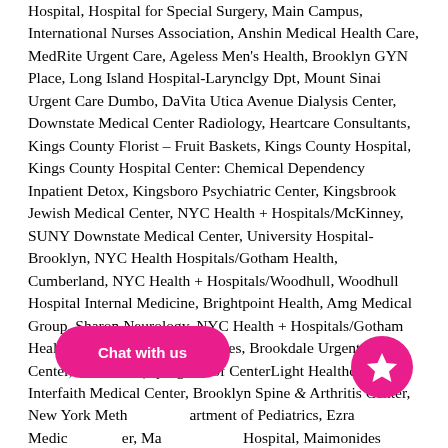Hospital, Hospital for Special Surgery, Main Campus, International Nurses Association, Anshin Medical Health Care, MedRite Urgent Care, Ageless Men's Health, Brooklyn GYN Place, Long Island Hospital-Larynclgy Dpt, Mount Sinai Urgent Care Dumbo, DaVita Utica Avenue Dialysis Center, Downstate Medical Center Radiology, Heartcare Consultants, Kings County Florist – Fruit Baskets, Kings County Hospital, Kings County Hospital Center: Chemical Dependency Inpatient Detox, Kingsboro Psychiatric Center, Kingsbrook Jewish Medical Center, NYC Health + Hospitals/McKinney, SUNY Downstate Medical Center, University Hospital-Brooklyn, NYC Health Hospitals/Gotham Health, Cumberland, NYC Health + Hospitals/Woodhull, Woodhull Hospital Internal Medicine, Brightpoint Health, Amg Medical Group, Sharon Neurology, NYC Health + Hospitals/Gotham Health, Jonathan Williams Houses, Brookdale Urgent Care Center, Teamcare (a program of CenterLight Healthcare), Interfaith Medical Center, Brooklyn Spine & Arthritis Center, New York Methodist Hospital Department of Pediatrics, Ezra Medical Center, Maimonides Hospital, Maimonides Medical Center Pharmacy, Calvary Hospital – Brooklyn Campus, NYU Langone Hospital - Brooklyn - A,